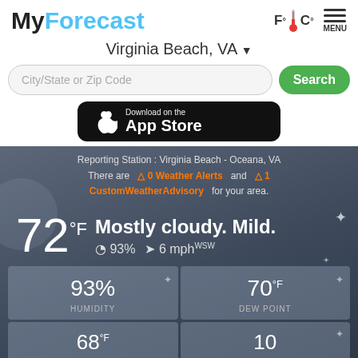MyForecast
Virginia Beach, VA
City/State or Zip Code
Search
[Figure (logo): Download on the App Store button]
Reporting Station : Virginia Beach - Oceana, VA
There are 0 Weather Alerts and 1 CustomWeatherAdvisory for your area.
72°F Mostly cloudy. Mild. 93% 6 mph WSW
| HUMIDITY | DEW POINT |
| --- | --- |
| 93% | 70°F |
| 68°F | 10 |